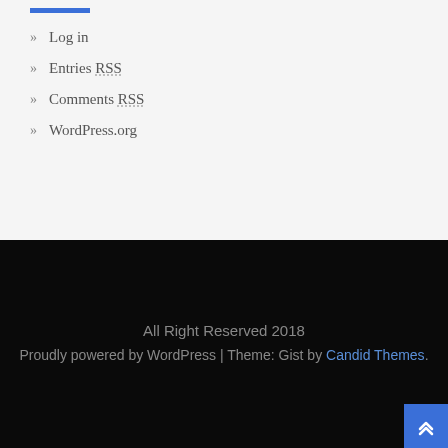» Log in
» Entries RSS
» Comments RSS
» WordPress.org
All Right Reserved 2018
Proudly powered by WordPress | Theme: Gist by Candid Themes.